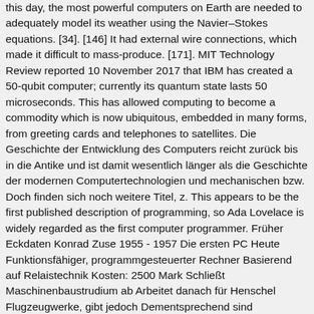this day, the most powerful computers on Earth are needed to adequately model its weather using the Navier–Stokes equations. [34]. [146] It had external wire connections, which made it difficult to mass-produce. [171]. MIT Technology Review reported 10 November 2017 that IBM has created a 50-qubit computer; currently its quantum state lasts 50 microseconds. This has allowed computing to become a commodity which is now ubiquitous, embedded in many forms, from greeting cards and telephones to satellites. Die Geschichte der Entwicklung des Computers reicht zurück bis in die Antike und ist damit wesentlich länger als die Geschichte der modernen Computertechnologien und mechanischen bzw. Doch finden sich noch weitere Titel, z. This appears to be the first published description of programming, so Ada Lovelace is widely regarded as the first computer programmer. Früher Eckdaten Konrad Zuse 1955 - 1957 Die ersten PC Heute Funktionsfähiger, programmgesteuerter Rechner Basierend auf Relaistechnik Kosten: 2500 Mark Schließt Maschinenbaustrudium ab Arbeitet danach für Henschel Flugzeugwerke, gibt jedoch Dementsprechend sind